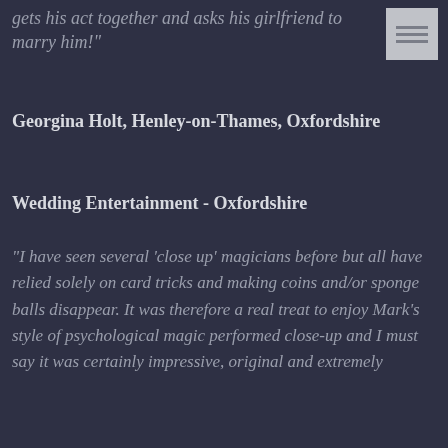gets his act together and asks his girlfriend to marry him!"
Georgina Holt, Henley-on-Thames, Oxfordshire
Wedding Entertainment - Oxfordshire
"I have seen several 'close up' magicians before but all have relied solely on card tricks and making coins and/or sponge balls disappear. It was therefore a real treat to enjoy Mark's style of psychological magic performed close-up and I must say it was certainly impressive, original and extremely